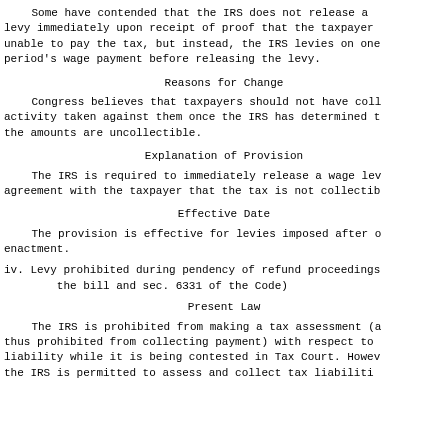Some have contended that the IRS does not release a levy immediately upon receipt of proof that the taxpayer unable to pay the tax, but instead, the IRS levies on one period's wage payment before releasing the levy.
Reasons for Change
Congress believes that taxpayers should not have coll activity taken against them once the IRS has determined t the amounts are uncollectible.
Explanation of Provision
The IRS is required to immediately release a wage lev agreement with the taxpayer that the tax is not collectib
Effective Date
The provision is effective for levies imposed after o enactment.
iv. Levy prohibited during pendency of refund proceedings the bill and sec. 6331 of the Code)
Present Law
The IRS is prohibited from making a tax assessment (a thus prohibited from collecting payment) with respect to liability while it is being contested in Tax Court. Howev the IRS is permitted to assess and collect tax liabiliti